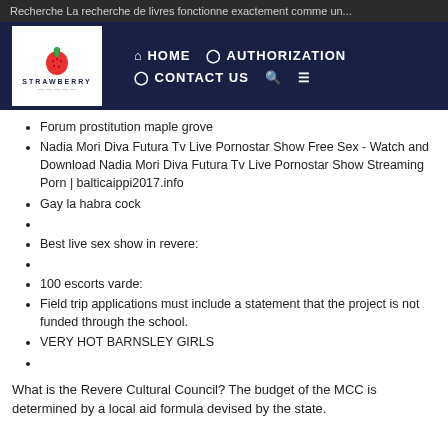Recherche La recherche de livres fonctionne exactement comme un...
[Figure (screenshot): Website navigation bar with Strawberry logo on left and HOME, AUTHORIZATION, CONTACT US, search and menu icons on right, dark navy background]
Forum prostitution maple grove
Nadia Mori Diva Futura Tv Live Pornostar Show Free Sex - Watch and Download Nadia Mori Diva Futura Tv Live Pornostar Show Streaming Porn | balticaippi2017.info
Gay la habra cock
Best live sex show in revere:
100 escorts varde:
Field trip applications must include a statement that the project is not funded through the school.
VERY HOT BARNSLEY GIRLS
What is the Revere Cultural Council? The budget of the MCC is determined by a local aid formula devised by the state.